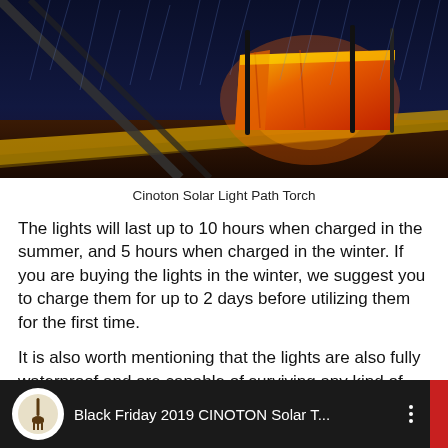[Figure (photo): Outdoor night scene showing solar path torch lights illuminating a tent in the rain, with orange and yellow warm glow against dark blue rainy background]
Cinoton Solar Light Path Torch
The lights will last up to 10 hours when charged in the summer, and 5 hours when charged in the winter. If you are buying the lights in the winter, we suggest you to charge them for up to 2 days before utilizing them for the first time.
It is also worth mentioning that the lights are also fully waterproof and are capable of surviving any kind of weather.
Last but not least, the TomCare solar lights.
[Figure (screenshot): Video thumbnail showing a YouTube-style video player with title 'Black Friday 2019 CINOTON Solar T...' and a circular icon with shovel logo on the left, three-dot menu on the right, dark background]